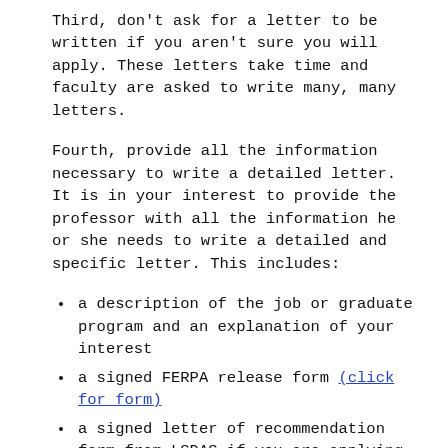Third, don't ask for a letter to be written if you aren't sure you will apply. These letters take time and faculty are asked to write many, many letters.
Fourth, provide all the information necessary to write a detailed letter. It is in your interest to provide the professor with all the information he or she needs to write a detailed and specific letter. This includes:
a description of the job or graduate program and an explanation of your interest
a signed FERPA release form (click for form)
a signed letter of recommendation form from LSDAS if you are applying to law school
a resume that includes your GPA and appropriate extracurricular activities
a reminder about specific courses you took from or papers you wrote for the instructor